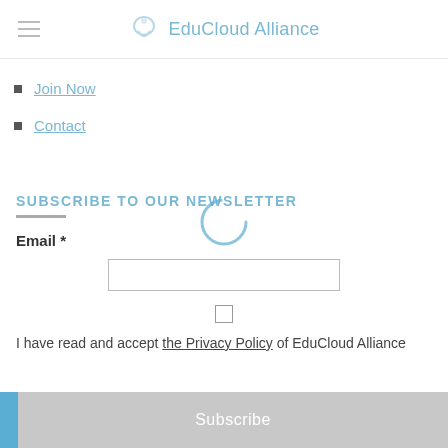EduCloud Alliance
Join Now
Contact
SUBSCRIBE TO OUR NEWSLETTER
Email *
I have read and accept the Privacy Policy of EduCloud Alliance
Subscribe